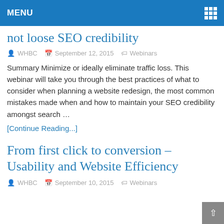MENU
not loose SEO credibility
WHBC   September 12, 2015   Webinars
Summary Minimize or ideally eliminate traffic loss. This webinar will take you through the best practices of what to consider when planning a website redesign, the most common mistakes made when and how to maintain your SEO credibility amongst search …
[Continue Reading...]
From first click to conversion – Usability and Website Efficiency
WHBC   September 10, 2015   Webinars